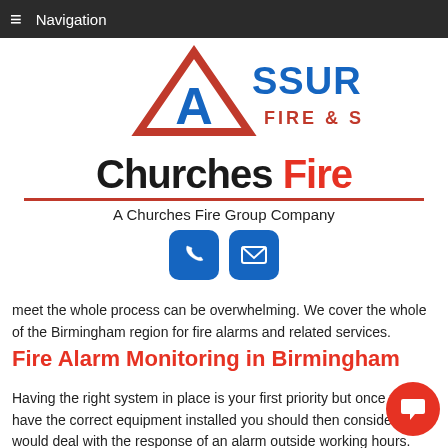Bromsgrove
West Bromwich
≡  Navigation
[Figure (logo): Assured Fire & Security logo with red triangle and blue text]
[Figure (logo): Churches Fire logo with black and red text, underline, subtitle 'A Churches Fire Group Company' and phone/email icon buttons]
meet the whole process can be overwhelming. We cover the whole of the Birmingham region for fire alarms and related services.
Fire Alarm Monitoring in Birmingham
Having the right system in place is your first priority but once you have the correct equipment installed you should then consider who would deal with the response of an alarm outside working hours. Our fire alarm monitoring service operates